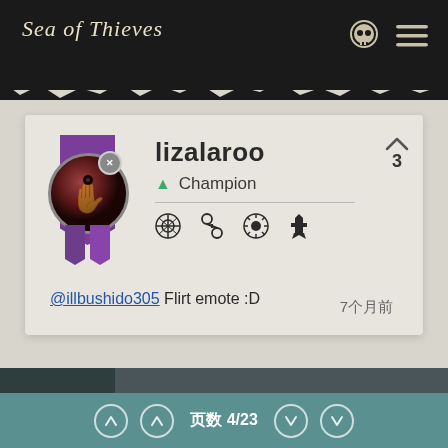Sea of Thieves
[Figure (illustration): Player profile avatar with purple banner and dark round badge showing a hand symbol, with a small X badge]
lizalaroo
Champion
@illbushido305 Flirt emote :D
7个月前
页数 4/23